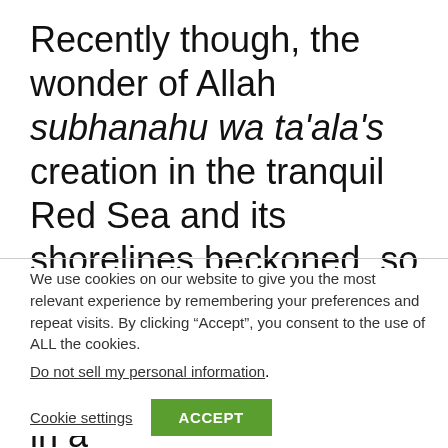Recently though, the wonder of Allah subhanahu wa ta'ala's creation in the tranquil Red Sea and its shorelines beckoned, so I granted myself a holiday during Eid Al-Adha by taking a week in a
We use cookies on our website to give you the most relevant experience by remembering your preferences and repeat visits. By clicking “Accept”, you consent to the use of ALL the cookies.
Do not sell my personal information.
Cookie settings
ACCEPT